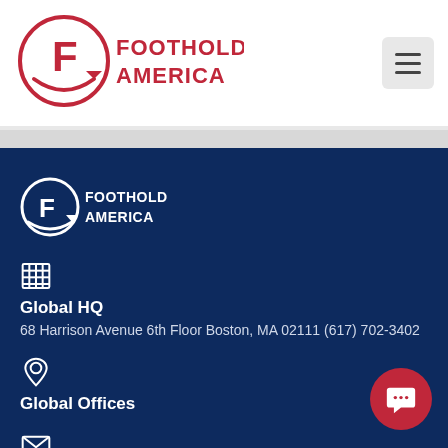[Figure (logo): Foothold America logo — red circle with F and arrow, beside bold red text FOOTHOLD AMERICA in two lines]
[Figure (logo): Hamburger menu icon — three horizontal lines in a light grey rounded square]
[Figure (logo): Foothold America logo in white on dark navy background]
[Figure (other): Building/office icon in white]
Global HQ
68 Harrison Avenue 6th Floor Boston, MA 02111 (617) 702-3402
[Figure (other): Location pin icon in white]
Global Offices
[Figure (other): Envelope/mail icon in white]
[Figure (other): Chat bubble button — red circle with white speech bubble icon, bottom right corner]